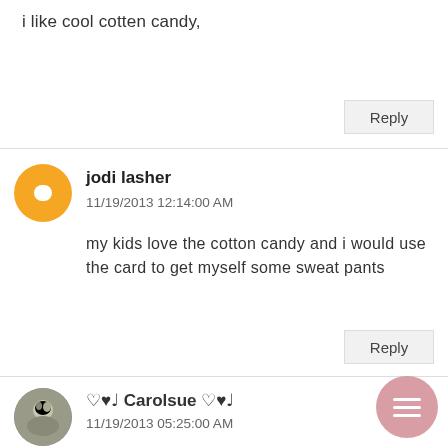i like cool cotten candy,
Reply
jodi lasher
11/19/2013 12:14:00 AM

my kids love the cotton candy and i would use the card to get myself some sweat pants
Reply
♡♥♩ Carolsue ♡♥♩
11/19/2013 05:25:00 AM

I will probably use the Target card for s
Chbristmas PJs for the kids
Digicats {at} Sbcglobal {dot} Net